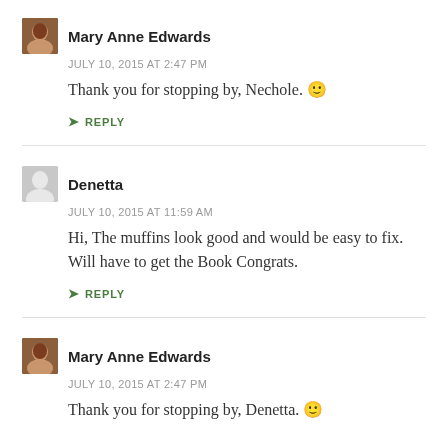Mary Anne Edwards
JULY 10, 2015 AT 2:47 PM
Thank you for stopping by, Nechole. 🙂
↳ REPLY
Denetta
JULY 10, 2015 AT 11:59 AM
Hi, The muffins look good and would be easy to fix. Will have to get the Book Congrats.
↳ REPLY
Mary Anne Edwards
JULY 10, 2015 AT 2:47 PM
Thank you for stopping by, Denetta. 🙂